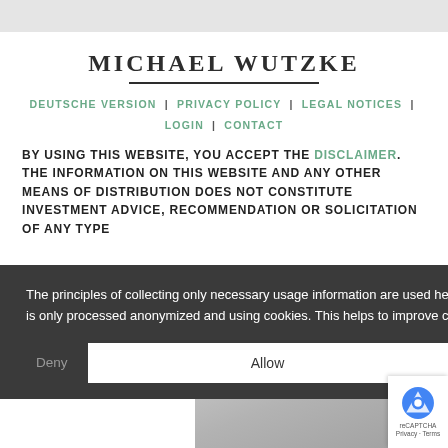MICHAEL WUTZKE
DEUTSCHE VERSION | PRIVACY POLICY | LEGAL NOTICES | LOGIN | CONTACT
BY USING THIS WEBSITE, YOU ACCEPT THE DISCLAIMER. THE INFORMATION ON THIS WEBSITE AND ANY OTHER MEANS OF DISTRIBUTION DOES NOT CONSTITUTE INVESTMENT ADVICE, RECOMMENDATION OR SOLICITATION OF ANY TYPE
The principles of collecting only necessary usage information are used here. The website usage is only processed anonymized and using cookies. This helps to improve content. Learn more